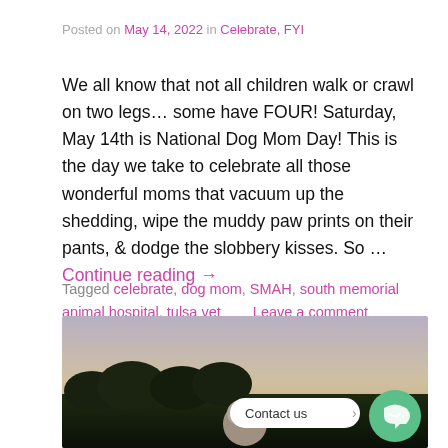Posted on May 14, 2022 in Celebrate, FYI
We all know that not all children walk or crawl on two legs… some have FOUR! Saturday, May 14th is National Dog Mom Day! This is the day we take to celebrate all those wonderful moms that vacuum up the shedding, wipe the muddy paw prints on their pants, & dodge the slobbery kisses. So … Continue reading →
Tagged celebrate, dog mom, SMAH, south memorial animal hospital, tulsa vet   Leave a comment
[Figure (photo): A sunset or dusk outdoor photo showing silhouetted trees and foliage at the bottom, a warm sky above, and what appears to be the back of a person's head (likely a woman with light hair in a ponytail) in the lower center. A 'Contact us' chat bubble and a green chat button are overlaid in the lower right area.]